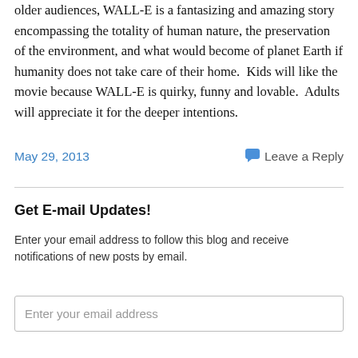older audiences, WALL-E is a fantasizing and amazing story encompassing the totality of human nature, the preservation of the environment, and what would become of planet Earth if humanity does not take care of their home.  Kids will like the movie because WALL-E is quirky, funny and lovable.  Adults will appreciate it for the deeper intentions.
May 29, 2013
Leave a Reply
Get E-mail Updates!
Enter your email address to follow this blog and receive notifications of new posts by email.
Enter your email address